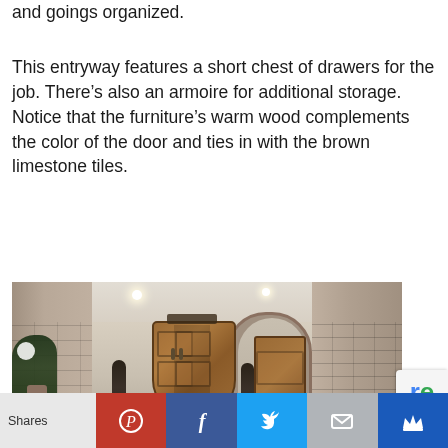and goings organized.
This entryway features a short chest of drawers for the job. There’s also an armoire for additional storage. Notice that the furniture’s warm wood complements the color of the door and ties in with the brown limestone tiles.
[Figure (photo): Interior entryway with stone walls, wooden arched double door, armoire, decorative statues, recessed lighting in ceiling, and brown limestone tile floor]
Shares | Pinterest | Facebook | Twitter | Email | Crown